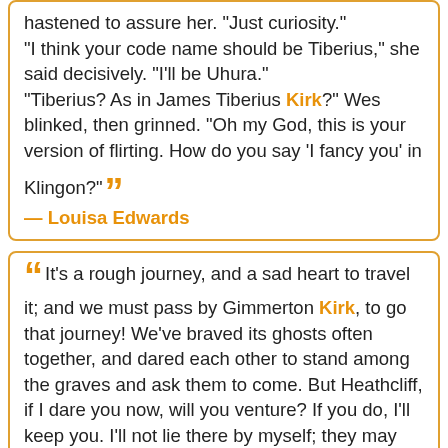hastened to assure her. "Just curiosity."
"I think your code name should be Tiberius," she said decisively. "I'll be Uhura."
"Tiberius? As in James Tiberius Kirk?" Wes blinked, then grinned. "Oh my God, this is your version of flirting. How do you say 'I fancy you' in Klingon?"
— Louisa Edwards
It's a rough journey, and a sad heart to travel it; and we must pass by Gimmerton Kirk, to go that journey! We've braved its ghosts often together, and dared each other to stand among the graves and ask them to come. But Heathcliff, if I dare you now, will you venture? If you do, I'll keep you. I'll not lie there by myself; they may bury me twelve feet deep, and throw the church down over me, but I won't rest till you are with me. I never will!"